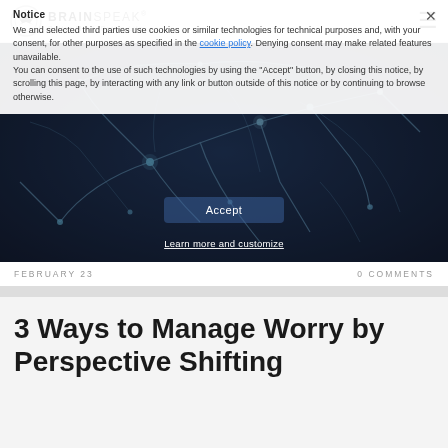BrainSpeak · Better Mind. Better Life.
Notice
We and selected third parties use cookies or similar technologies for technical purposes and, with your consent, for other purposes as specified in the cookie policy. Denying consent may make related features unavailable. You can consent to the use of such technologies by using the "Accept" button, by closing this notice, by scrolling this page, by interacting with any link or button outside of this notice or by continuing to browse otherwise.
[Figure (illustration): Dark background with glowing neurons and synapses network illustration, blue and grey tones]
Accept
Learn more and customize
FEBRUARY 23
0 COMMENTS
3 Ways to Manage Worry by Perspective Shifting